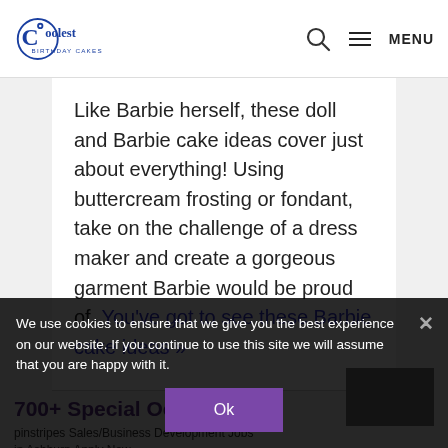Coolest Birthday Cakes — MENU
Like Barbie herself, these doll and Barbie cake ideas cover just about everything! Using buttercream frosting or fondant, take on the challenge of a dress maker and create a gorgeous garment Barbie would be proud of. You've got to see these Barbie cake ideas »
700+ Special Occasion &
pinstripes Sales/Business Development Jobs in Ashburn Apply Now
tubble.com
We use cookies to ensure that we give you the best experience on our website. If you continue to use this site we will assume that you are happy with it.
Ok